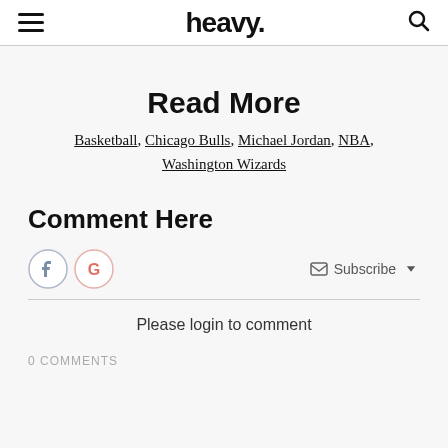heavy.
Read More
Basketball, Chicago Bulls, Michael Jordan, NBA, Washington Wizards
Comment Here
Subscribe
Please login to comment
0 COMMENTS